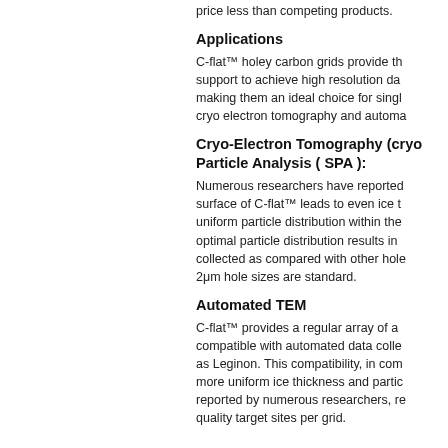price less than competing products.
Applications
C-flat™ holey carbon grids provide th… support to achieve high resolution da… making them an ideal choice for singl… cryo electron tomography and automa…
Cryo-Electron Tomography (cryo… Particle Analysis ( SPA ):
Numerous researchers have reported… surface of C-flat™ leads to even ice t… uniform particle distribution within the… optimal particle distribution results in … collected as compared with other hol… 2μm hole sizes are standard.
Automated TEM
C-flat™ provides a regular array of a… compatible with automated data colle… as Leginon. This compatibility, in com… more uniform ice thickness and partic… reported by numerous researchers, r… quality target sites per grid.